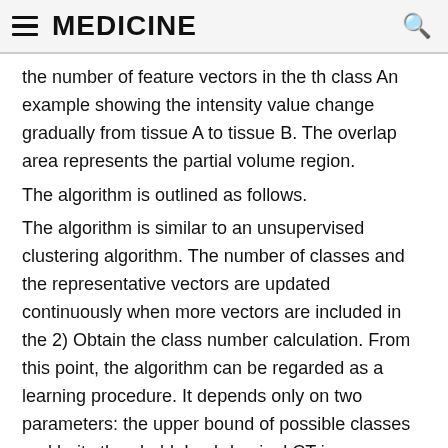MEDICINE
the number of feature vectors in the th class An example showing the intensity value change gradually from tissue A to tissue B. The overlap area represents the partial volume region.
The algorithm is outlined as follows.
The algorithm is similar to an unsupervised clustering algorithm. The number of classes and the representative vectors are updated continuously when more vectors are included in the 2) Obtain the class number calculation. From this point, the algorithm can be regarded as a learning procedure. It depends only on two parameters: the upper bound of possible classes and larity threshold. In abdominal CT images, there are roughly four classes that can be perceived based on their intensity features:1) air, 2) soft tissue, 3) muscle, and 4) bone or the enhanced